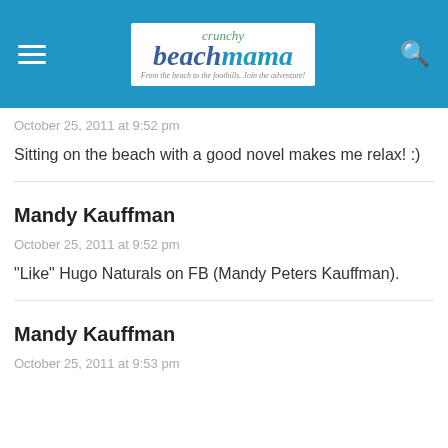Crunchy Beach Mama — From the beach to the foothills. Join the adventure!
October 25, 2011 at 9:52 pm
Sitting on the beach with a good novel makes me relax! :)
Mandy Kauffman
October 25, 2011 at 9:52 pm
"Like" Hugo Naturals on FB (Mandy Peters Kauffman).
Mandy Kauffman
October 25, 2011 at 9:53 pm